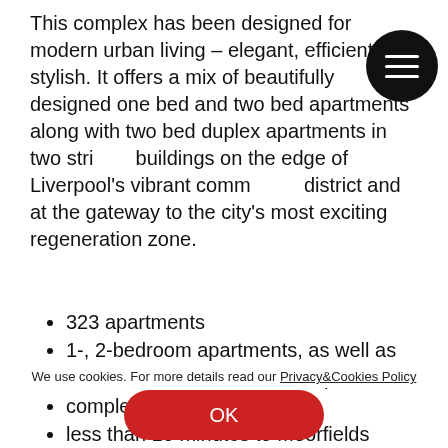This complex has been designed for modern urban living – elegant, efficient and stylish. It offers a mix of beautifully designed one bed and two bed apartments along with two bed duplex apartments in two striking buildings on the edge of Liverpool's vibrant commercial district and at the gateway to the city's most exciting regeneration zone.
323 apartments
1-, 2-bedroom apartments, as well as 1- and 2-bedroom two-floor apartments
completion  in Q1 2019
less than 10 minutes to Moorfields station
We use cookies. For more details read our Privacy&Cookies Policy
OK